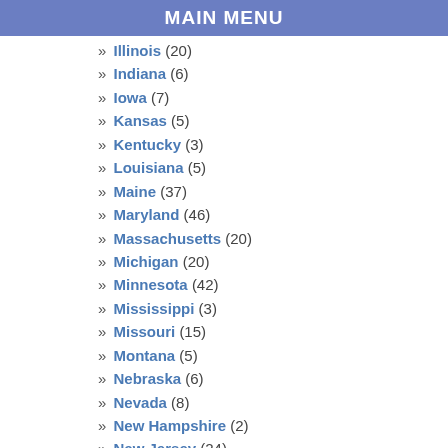MAIN MENU
» Illinois (20)
» Indiana (6)
» Iowa (7)
» Kansas (5)
» Kentucky (3)
» Louisiana (5)
» Maine (37)
» Maryland (46)
» Massachusetts (20)
» Michigan (20)
» Minnesota (42)
» Mississippi (3)
» Missouri (15)
» Montana (5)
» Nebraska (6)
» Nevada (8)
» New Hampshire (2)
» New Jersey (24)
» New Mexico (10)
» New York (64)
» North Carolina (15)
» North Dakota (12)
» Ohio (21)
» Oklahoma (4)